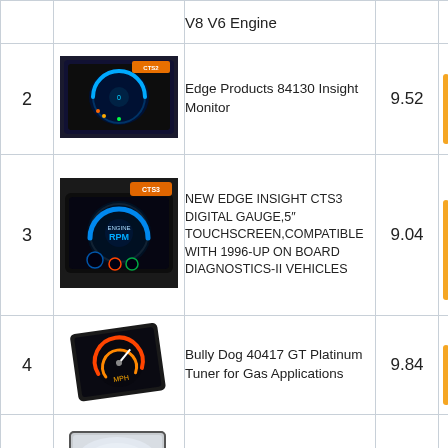| Rank | Image | Product Name | Score | Bar |
| --- | --- | --- | --- | --- |
|  |  | V8 V6 Engine |  |  |
| 2 | [image] | Edge Products 84130 Insight Monitor | 9.52 |  |
| 3 | [image] | NEW EDGE INSIGHT CTS3 DIGITAL GAUGE,5" TOUCHSCREEN,COMPATIBLE WITH 1996-UP ON BOARD DIAGNOSTICS-II VEHICLES | 9.04 |  |
| 4 | [image] | Bully Dog 40417 GT Platinum Tuner for Gas Applications | 9.84 |  |
| 5 | [image] | Livtee Framed Rectangular Blind Spot Mirror, HD Glass and ABS Housing Convex Wide Angle Rearview Mirror with Adjustable Stick for Universal Car (2 pcs) | 9.44 |  |
|  | [image] | Autel MS300 Universal... |  |  |